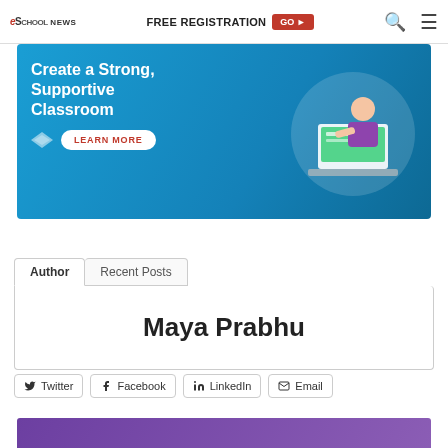eSchool News | FREE REGISTRATION GO
[Figure (illustration): Advertisement banner with blue background showing 'Create a Strong, Supportive Classroom' text with a LEARN MORE button and illustration of a person at laptop]
Author | Recent Posts
Maya Prabhu
Twitter  Facebook  LinkedIn  Email
[Figure (illustration): Bottom purple banner partially visible]